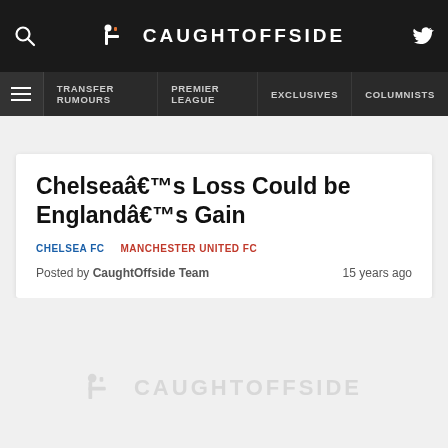CAUGHTOFFSIDE
TRANSFER RUMOURS | PREMIER LEAGUE | EXCLUSIVES | COLUMNISTS
Chelseaâ€™s Loss Could be Englandâ€™s Gain
CHELSEA FC   MANCHESTER UNITED FC
Posted by CaughtOffside Team   15 years ago
[Figure (logo): CaughtOffside watermark logo in light gray]